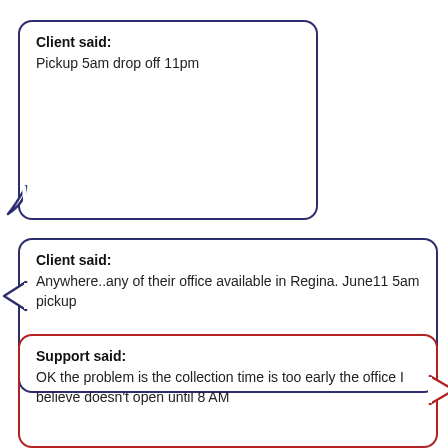Client said:
Pickup 5am drop off 11pm
Client said:
Anywhere..any of their office available in Regina. June11 5am pickup
Support said:
OK the problem is the collection time is too early the office I believe doesn't open until 8 AM